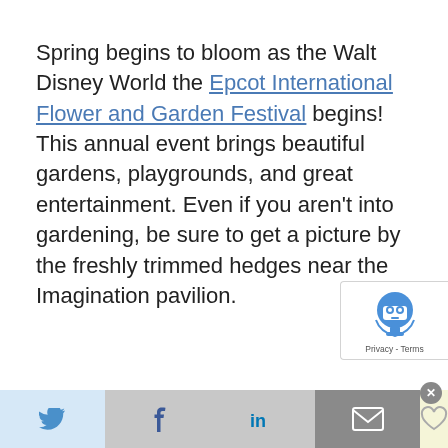Spring begins to bloom as the Walt Disney World the Epcot International Flower and Garden Festival begins! This annual event brings beautiful gardens, playgrounds, and great entertainment. Even if you aren't into gardening, be sure to get a picture by the freshly trimmed hedges near the Imagination pavilion.
[Figure (other): reCAPTCHA badge with robot icon and Privacy - Terms text]
[Figure (other): Social share bar with Twitter, Facebook, LinkedIn, Email, and Like buttons, and a close (X) button]